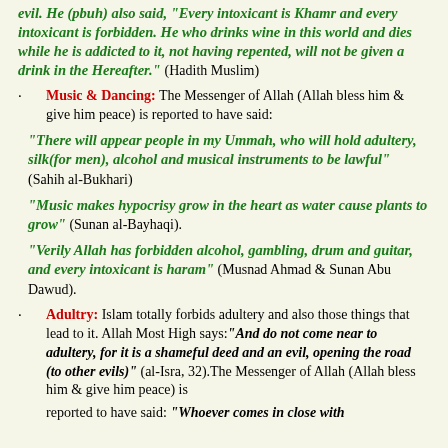evil. He (pbuh) also said, "Every intoxicant is Khamr and every intoxicant is forbidden. He who drinks wine in this world and dies while he is addicted to it, not having repented, will not be given a drink in the Hereafter." (Hadith Muslim)
Music & Dancing: The Messenger of Allah (Allah bless him & give him peace) is reported to have said:
"There will appear people in my Ummah, who will hold adultery, silk(for men), alcohol and musical instruments to be lawful" (Sahih al-Bukhari)
"Music makes hypocrisy grow in the heart as water cause plants to grow" (Sunan al-Bayhaqi).
"Verily Allah has forbidden alcohol, gambling, drum and guitar, and every intoxicant is haram" (Musnad Ahmad & Sunan Abu Dawud).
Adultry: Islam totally forbids adultery and also those things that lead to it. Allah Most High says:"And do not come near to adultery, for it is a shameful deed and an evil, opening the road (to other evils)" (al-Isra, 32).The Messenger of Allah (Allah bless him & give him peace) is reported to have said: "Whoever comes in close with...